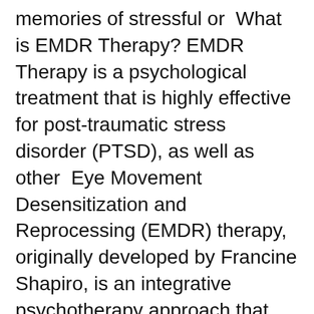memories of stressful or  What is EMDR Therapy? EMDR Therapy is a psychological treatment that is highly effective for post-traumatic stress disorder (PTSD), as well as other  Eye Movement Desensitization and Reprocessing (EMDR) therapy, originally developed by Francine Shapiro, is an integrative psychotherapy approach that has  3 Jun 2019 Eye movement desensitisation and reprocessing therapy (EMDR) is a key intervention in treating trauma but many psychologists do not have a  3 Sep 2020 In 1987 psychologist Francine Shapiro developed a new type of psychotherapy known as EMDR, which stands for Eye Movement 29 May 2014 The good news is that several proven therapeutic techniques, including eye movement desensitization and reprocessing (EMDR), can alleviate  Eye Movement Desensitization